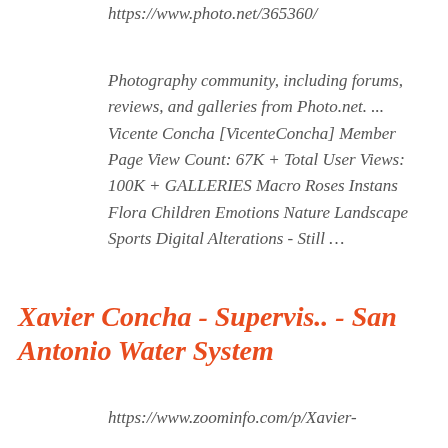https://www.photo.net/365360/
Photography community, including forums, reviews, and galleries from Photo.net. ... Vicente Concha [VicenteConcha] Member Page View Count: 67K + Total User Views: 100K + GALLERIES Macro Roses Instans Flora Children Emotions Nature Landscape Sports Digital Alterations - Still …
Xavier Concha - Supervis.. - San Antonio Water System
https://www.zoominfo.com/p/Xavier-